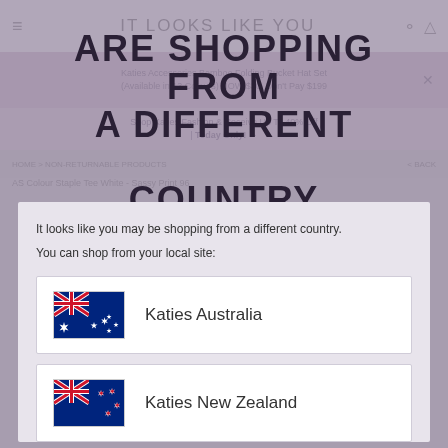IT LOOKS LIKE YOU ARE SHOPPING FROM A DIFFERENT COUNTRY
Katies Accessories Bamboo Folding Bucket Hat Set (Available in 13 Colours) NOW $30. Don't Pay $199
Shop Katies Fashion & Receive Up To 40% Off | Today Only!
HOME > NON-RETURNABLE PRODUCTS
AS Colour Staple Tee White - Sassy Print 96
It looks like you may be shopping from a different country. You can shop from your local site:
Katies Australia
Katies New Zealand